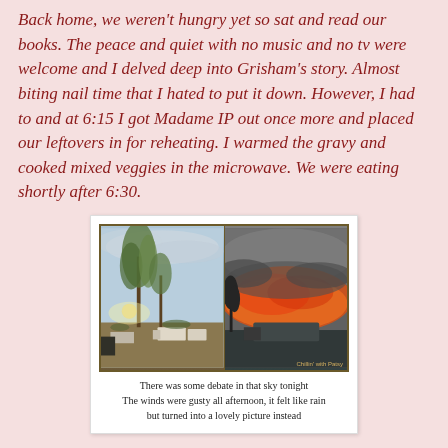Back home, we weren't hungry yet so sat and read our books. The peace and quiet with no music and no tv were welcome and I delved deep into Grisham's story. Almost biting nail time that I hated to put it down. However, I had to and at 6:15 I got Madame IP out once more and placed our leftovers in for reheating. I warmed the gravy and cooked mixed veggies in the microwave. We were eating shortly after 6:30.
[Figure (photo): Two outdoor photos side by side showing evening sky scenes. Left photo shows trees and RVs with overcast sky. Right photo shows vivid orange and red sunset clouds.]
There was some debate in that sky tonight
The winds were gusty all afternoon, it felt like rain
but turned into a lovely picture instead
Supper was good the second time around and we were impressed that a small 2 lb. roast of beef and 2 potatoes